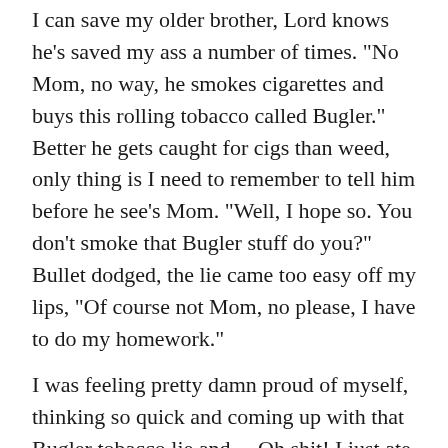I can save my older brother, Lord knows he's saved my ass a number of times. “No Mom, no way, he smokes cigarettes and buys this rolling tobacco called Bugler.” Better he gets caught for cigs than weed, only thing is I need to remember to tell him before he see’s Mom. “Well, I hope so. You don’t smoke that Bugler stuff do you?” Bullet dodged, the lie came too easy off my lips, “Of course not Mom, no please, I have to do my homework.”
I was feeling pretty damn proud of myself, thinking so quick and coming up with that Bugler tobacco lie and….Oh shit! I just ate five hits of barrel acid. That’s when panic filled the room like a mountain fog. The thought hit me over and over. I’m about to go on the trip of a lifetime and I may never return. I called Ray-Ray and Bobby and they both sounded like they were calling